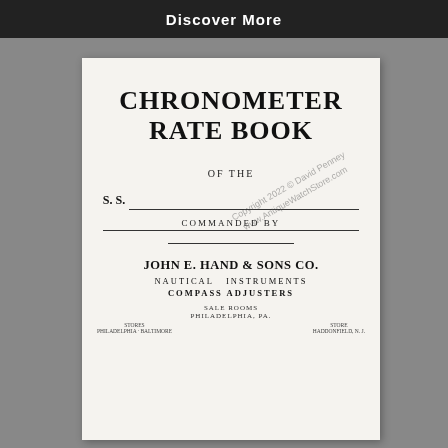Discover More
[Figure (photo): Cover page of a Chronometer Rate Book published by John E. Hand & Sons Co., Nautical Instruments, Compass Adjusters, Philadelphia, PA. Includes fields for S.S. (ship name) and Commanded By. A watermark reads: Copyright 2022 © David Penney www.AntiqueWatchStore.com]
CHRONOMETER RATE BOOK
OF THE
S. S.
COMMANDED BY
JOHN E. HAND & SONS CO.
NAUTICAL INSTRUMENTS
COMPASS ADJUSTERS
PHILADELPHIA, PA.
PHILADELPHIA - BALTIMORE
HADDONFIELD, N.J.